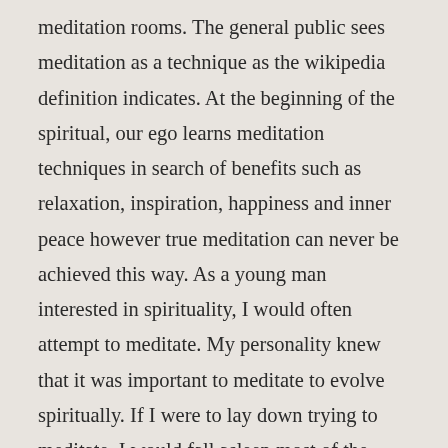meditation rooms. The general public sees meditation as a technique as the wikipedia definition indicates. At the beginning of the spiritual, our ego learns meditation techniques in search of benefits such as relaxation, inspiration, happiness and inner peace however true meditation can never be achieved this way. As a young man interested in spirituality, I would often attempt to meditate. My personality knew that it was important to meditate to evolve spiritually. If I were to lay down trying to meditate, I would fall asleep most of the time. So I would sit, try various exercises or guided meditations. I was actually learning concentration not meditation. Both are generally confused for each other. While this was useful to acquire more control over my thoughts, after a while my body would bother me and I would stop. Not much insight would come out from these meditation attempts. In my mid-thirties, I got a